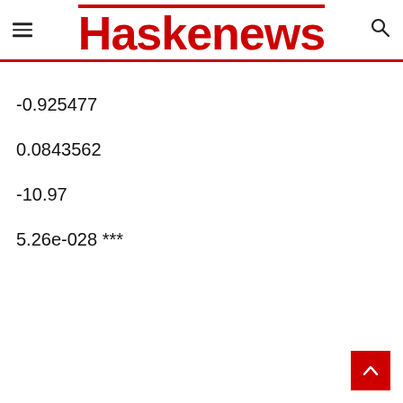Haskenews
-0.925477
0.0843562
-10.97
5.26e-028 ***